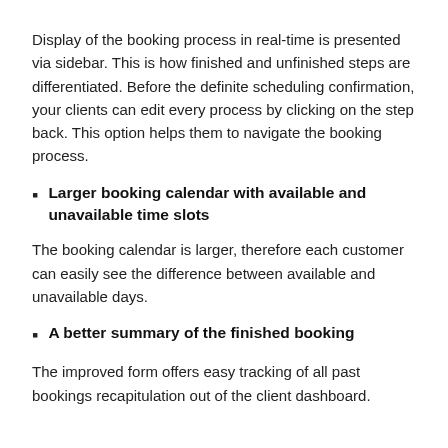Display of the booking process in real-time is presented via sidebar. This is how finished and unfinished steps are differentiated. Before the definite scheduling confirmation, your clients can edit every process by clicking on the step back. This option helps them to navigate the booking process.
Larger booking calendar with available and unavailable time slots
The booking calendar is larger, therefore each customer can easily see the difference between available and unavailable days.
A better summary of the finished booking
The improved form offers easy tracking of all past bookings recapitulation out of the client dashboard.